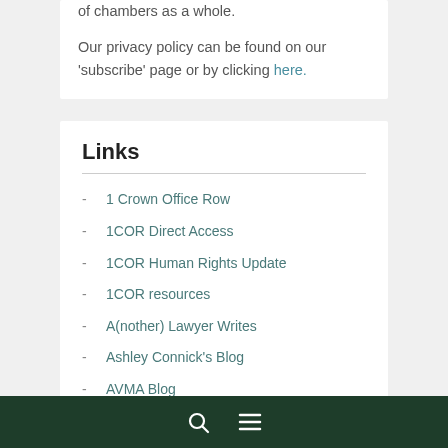of chambers as a whole.
Our privacy policy can be found on our 'subscribe' page or by clicking here.
Links
1 Crown Office Row
1COR Direct Access
1COR Human Rights Update
1COR resources
A(nother) Lawyer Writes
Ashley Connick's Blog
AVMA Blog
🔍 ☰